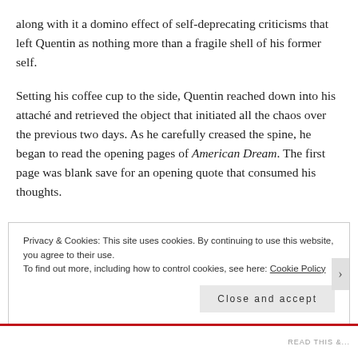along with it a domino effect of self-deprecating criticisms that left Quentin as nothing more than a fragile shell of his former self.
Setting his coffee cup to the side, Quentin reached down into his attaché and retrieved the object that initiated all the chaos over the previous two days. As he carefully creased the spine, he began to read the opening pages of American Dream. The first page was blank save for an opening quote that consumed his thoughts.
Privacy & Cookies: This site uses cookies. By continuing to use this website, you agree to their use.
To find out more, including how to control cookies, see here: Cookie Policy
Close and accept